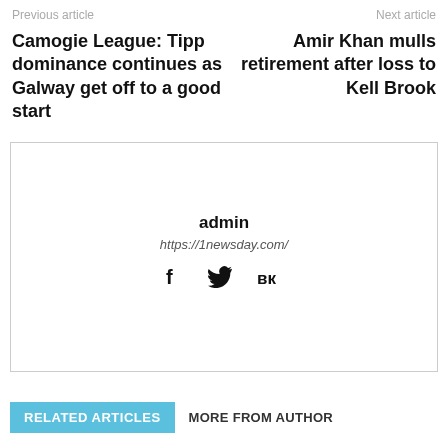Previous article | Next article
Camogie League: Tipp dominance continues as Galway get off to a good start
Amir Khan mulls retirement after loss to Kell Brook
[Figure (other): Author bio box with avatar placeholder, name 'admin', URL 'https://1newsday.com/', and social icons for Facebook, Twitter, and VK]
RELATED ARTICLES   MORE FROM AUTHOR